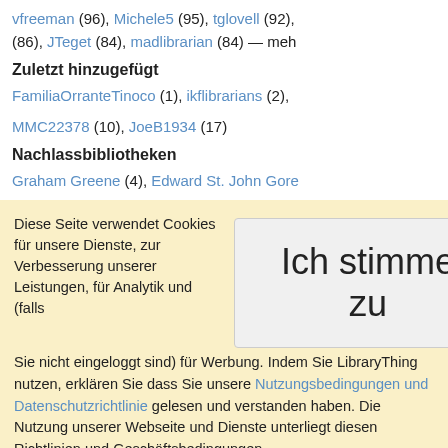vfreeman (96), Michele5 (95), tglovell (92), (86), JTeget (84), madlibrarian (84) — meh
Zuletzt hinzugefügt
FamiliaOrranteTinoco (1), ikflibrarians (2), MMC22378 (10), JoeB1934 (17)
Nachlassbibliotheken
Graham Greene (4), Edward St. John Gore
Diese Seite verwendet Cookies für unsere Dienste, zur Verbesserung unserer Leistungen, für Analytik und (falls Sie nicht eingeloggt sind) für Werbung. Indem Sie LibraryThing nutzen, erklären Sie dass Sie unsere Nutzungsbedingungen und Datenschutzrichtlinie gelesen und verstanden haben. Die Nutzung unserer Webseite und Dienste unterliegt diesen Richtlinien und Geschäftsbedingungen.
Ich stimme zu